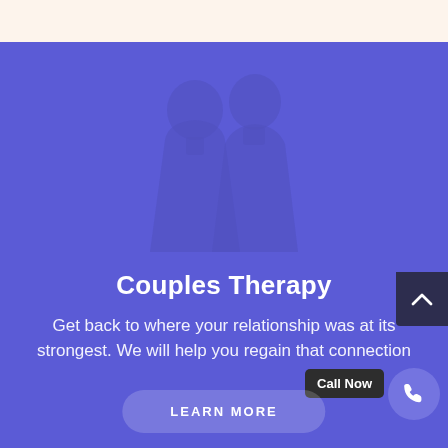[Figure (illustration): Two human silhouettes (a couple) shown from behind against a medium purple/blue background, illustrated in a slightly darker purple tone.]
Couples Therapy
Get back to where your relationship was at its strongest. We will help you regain that connection
Call Now
LEARN MORE